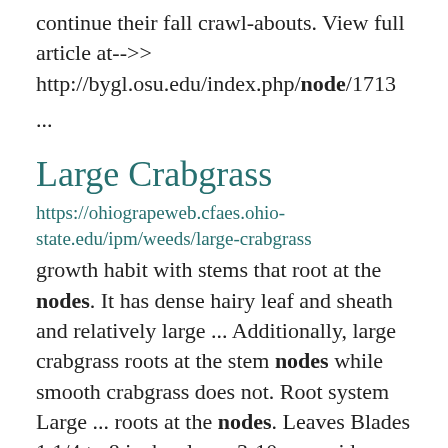continue their fall crawl-abouts. View full article at-->> http://bygl.osu.edu/index.php/node/1713
...
Large Crabgrass
https://ohiograpeweb.cfaes.ohio-state.edu/ipm/weeds/large-crabgrass
growth habit with stems that root at the nodes. It has dense hairy leaf and sheath and relatively large ... Additionally, large crabgrass roots at the stem nodes while smooth crabgrass does not. Root system Large ... roots at the nodes. Leaves Blades 1 1/4 to 8 inches long, 3-10 mm wide,